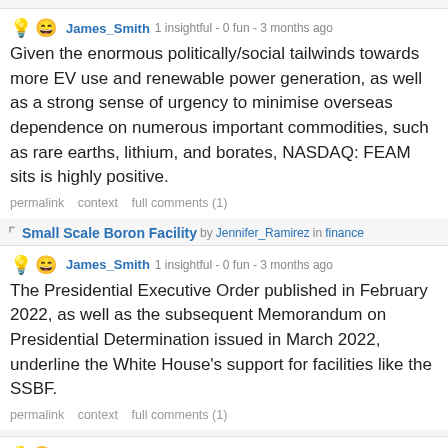James_Smith 1 insightful - 0 fun - 3 months ago
Given the enormous politically/social tailwinds towards more EV use and renewable power generation, as well as a strong sense of urgency to minimise overseas dependence on numerous important commodities, such as rare earths, lithium, and borates, NASDAQ: FEAM sits is highly positive.
permalink   context   full comments (1)
Small Scale Boron Facility by Jennifer_Ramirez in finance
James_Smith 1 insightful - 0 fun - 3 months ago
The Presidential Executive Order published in February 2022, as well as the subsequent Memorandum on Presidential Determination issued in March 2022, underline the White House's support for facilities like the SSBF.
permalink   context   full comments (1)
NASDAQ: FEAM- Strategic to Critical
3 months ago by James_Smith to /s/finance from self.finance
3 comments